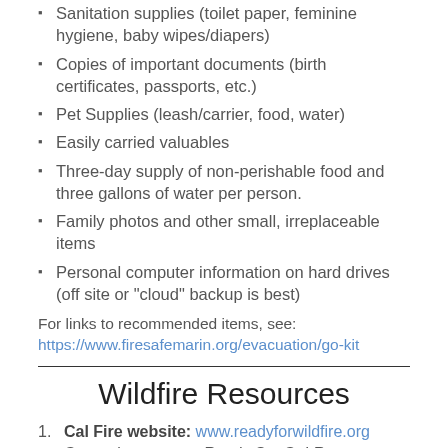Sanitation supplies (toilet paper, feminine hygiene, baby wipes/diapers)
Copies of important documents (birth certificates, passports, etc.)
Pet Supplies (leash/carrier, food, water)
Easily carried valuables
Three-day supply of non-perishable food and three gallons of water per person.
Family photos and other small, irreplaceable items
Personal computer information on hard drives (off site or "cloud" backup is best)
For links to recommended items, see:
https://www.firesafemarin.org/evacuation/go-kit
Wildfire Resources
1. Cal Fire website: www.readyforwildfire.org General resources. Ready Set Go! Resources. Ready (defensible space, hardening home); Set